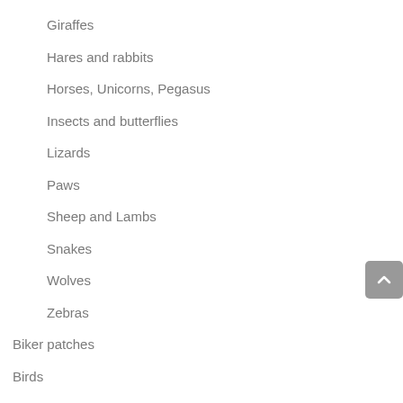Giraffes
Hares and rabbits
Horses, Unicorns, Pegasus
Insects and butterflies
Lizards
Paws
Sheep and Lambs
Snakes
Wolves
Zebras
Biker patches
Birds
Celtic
Comic-strip
Creative
Crowns